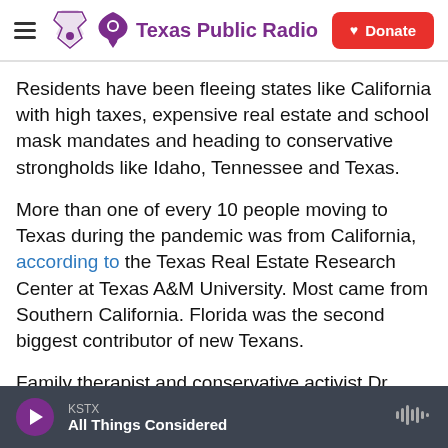Texas Public Radio | Donate
Residents have been fleeing states like California with high taxes, expensive real estate and school mask mandates and heading to conservative strongholds like Idaho, Tennessee and Texas.
More than one of every 10 people moving to Texas during the pandemic was from California, according to the Texas Real Estate Research Center at Texas A&M University. Most came from Southern California. Florida was the second biggest contributor of new Texans.
Family therapist and conservative activist Dr.
KSTX | All Things Considered